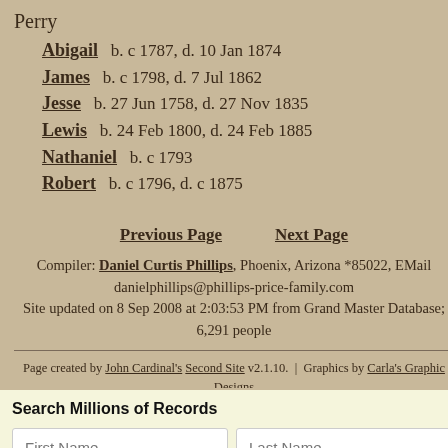Perry
Abigail   b. c 1787, d. 10 Jan 1874
James   b. c 1798, d. 7 Jul 1862
Jesse   b. 27 Jun 1758, d. 27 Nov 1835
Lewis   b. 24 Feb 1800, d. 24 Feb 1885
Nathaniel   b. c 1793
Robert   b. c 1796, d. c 1875
Previous Page   Next Page
Compiler: Daniel Curtis Phillips, Phoenix, Arizona *85022, EMail danielphillips@phillips-price-family.com
Site updated on 8 Sep 2008 at 2:03:53 PM from Grand Master Database; 6,291 people
Page created by John Cardinal's Second Site v2.1.10.  |  Graphics by Carla's Graphic Designs
Search Millions of Records